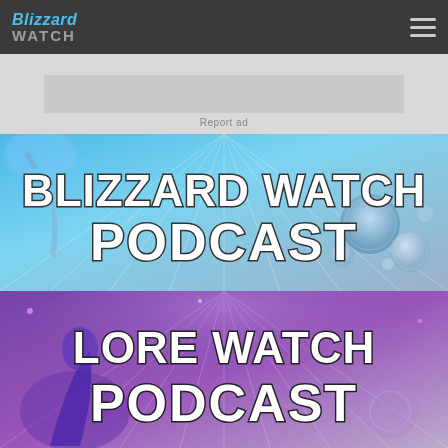Blizzard Watch — navigation header with hamburger menu
Report ad
[Figure (illustration): Blizzard Watch Podcast banner with large bold white text reading 'BLIZZARD WATCH PODCAST' on a blue/teal fantasy game art background featuring weapons, orbs, and magical elements]
[Figure (illustration): Lore Watch Podcast banner with large bold white text reading 'LORE WATCH PODCAST' on a purple fantasy game art background featuring armored character]